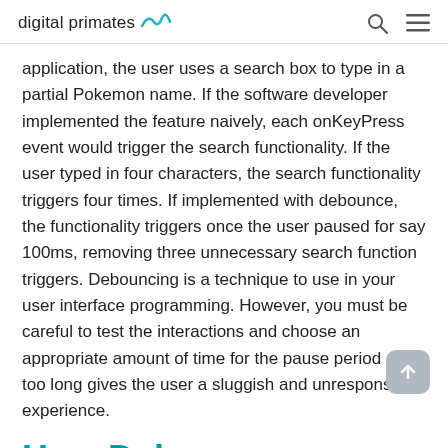digital primates
application, the user uses a search box to type in a partial Pokemon name. If the software developer implemented the feature naively, each onKeyPress event would trigger the search functionality. If the user typed in four characters, the search functionality triggers four times. If implemented with debounce, the functionality triggers once the user paused for say 100ms, removing three unnecessary search function triggers. Debouncing is a technique to use in your user interface programming. However, you must be careful to test the interactions and choose an appropriate amount of time for the pause period as too long gives the user a sluggish and unresponsive experience.
How Deb...